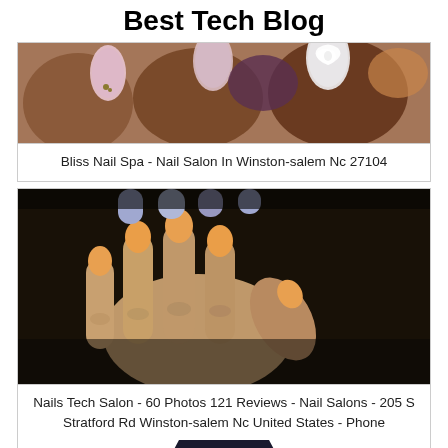Best Tech Blog
[Figure (photo): Close-up of decorated nails with nail art including a white floral design on dark skin hands]
Bliss Nail Spa - Nail Salon In Winston-salem Nc 27104
[Figure (photo): Hand with manicured nails painted orange/peach color against a dark background, with blue nails visible at top]
Nails Tech Salon - 60 Photos 121 Reviews - Nail Salons - 205 S Stratford Rd Winston-salem Nc United States - Phone
[Figure (other): CLOSE X button in dark arrow/chevron shape at bottom of page]